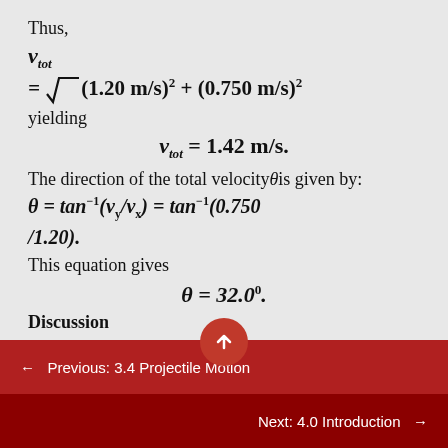Thus,
yielding
The direction of the total velocity θ is given by:
This equation gives
Discussion
← Previous: 3.4 Projectile Motion
Next: 4.0 Introduction →